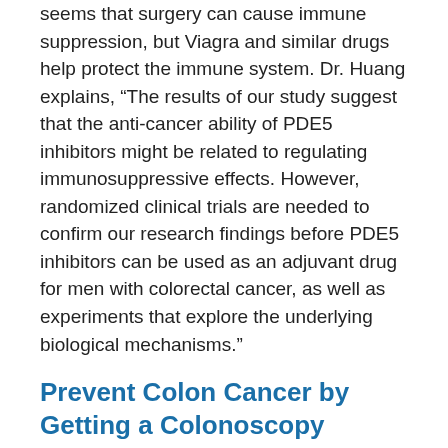seems that surgery can cause immune suppression, but Viagra and similar drugs help protect the immune system. Dr. Huang explains, “The results of our study suggest that the anti-cancer ability of PDE5 inhibitors might be related to regulating immunosuppressive effects. However, randomized clinical trials are needed to confirm our research findings before PDE5 inhibitors can be used as an adjuvant drug for men with colorectal cancer, as well as experiments that explore the underlying biological mechanisms.”
Prevent Colon Cancer by Getting a Colonoscopy
Viagra and potency-enhancing drugs may have some benefit, but they are not sufficient